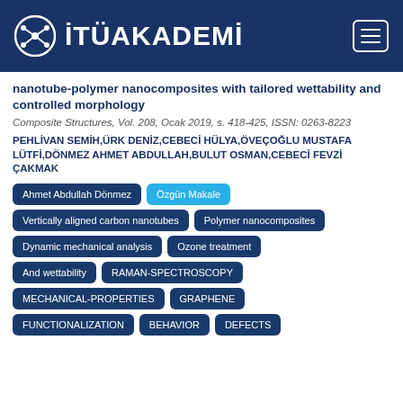[Figure (logo): İTÜAKADEMİ logo with navigation header bar on dark blue background]
nanotube-polymer nanocomposites with tailored wettability and controlled morphology
Composite Structures, Vol. 208, Ocak 2019, s. 418-425, ISSN: 0263-8223
PEHLİVAN SEMİH,ÜRK DENİZ,CEBECİ HÜLYA,ÖVEÇOĞLU MUSTAFA LÜTFİ,DÖNMEZ AHMET ABDULLAH,BULUT OSMAN,CEBECİ FEVZİ ÇAKMAK
Ahmet Abdullah Dönmez
Özgün Makale
Vertically aligned carbon nanotubes
Polymer nanocomposites
Dynamic mechanical analysis
Ozone treatment
And wettability
RAMAN-SPECTROSCOPY
MECHANICAL-PROPERTIES
GRAPHENE
FUNCTIONALIZATION
BEHAVIOR
DEFECTS